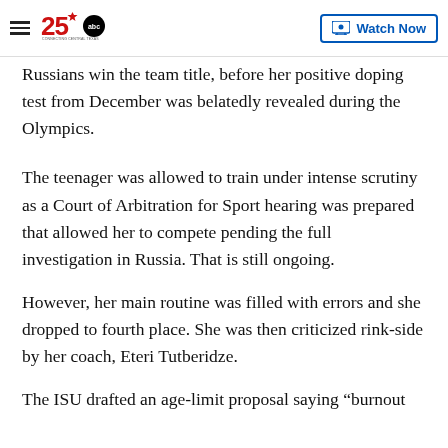25 ABC - Connecting Central Texas | Watch Now
Russians win the team title, before her positive doping test from December was belatedly revealed during the Olympics.
The teenager was allowed to train under intense scrutiny as a Court of Arbitration for Sport hearing was prepared that allowed her to compete pending the full investigation in Russia. That is still ongoing.
However, her main routine was filled with errors and she dropped to fourth place. She was then criticized rink-side by her coach, Eteri Tutberidze.
The ISU drafted an age-limit proposal saying “burnout